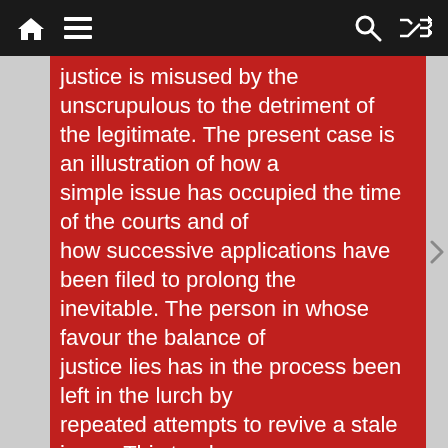Navigation bar with home, menu, search, and shuffle icons
justice is misused by the unscrupulous to the detriment of the legitimate. The present case is an illustration of how a simple issue has occupied the time of the courts and of how successive applications have been filed to prolong the inevitable. The person in whose favour the balance of justice lies has in the process been left in the lurch by repeated attempts to revive a stale issue. This tendency can be curbed only if courts across the system adopt an institutional approach which penalises such behaviour.